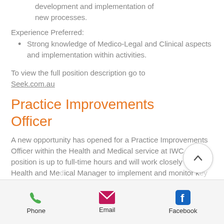development and implementation of new processes.
Experience Preferred:
Strong knowledge of Medico-Legal and Clinical aspects and implementation within activities.
To view the full position description go to Seek.com.au
Practice Improvements Officer
A new opportunity has opened for a Practice Improvements Officer within the Health and Medical service at IWC. This position is up to full-time hours and will work closely with the Health and Medical Manager to implement and monitor key changes to IWC's existing services.
Experience Required:
[Figure (other): Bottom navigation bar with Phone, Email, and Facebook icons]